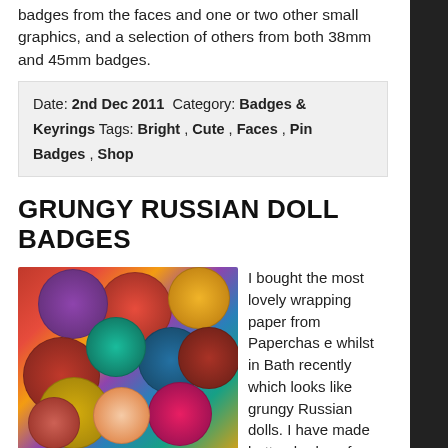badges from the faces and one or two other small graphics, and a selection of others from both 38mm and 45mm badges.
Date: 2nd Dec 2011  Category: Badges & Keyrings  Tags: Bright, Cute, Faces, Pin Badges, Shop
GRUNGY RUSSIAN DOLL BADGES
[Figure (photo): A pile of colorful circular button badges with Russian doll and patterned designs in reds, pinks, golds, blues and stripes]
I bought the most lovely wrapping paper from Paperchase whilst in Bath recently which looks like grungy Russian dolls. I have made button badges from the faces and 45mm badges from the bodies.